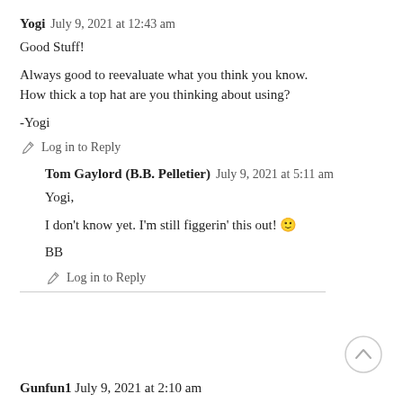Yogi  July 9, 2021 at 12:43 am
Good Stuff!
Always good to reevaluate what you think you know.
How thick a top hat are you thinking about using?
-Yogi
✏ Log in to Reply
Tom Gaylord (B.B. Pelletier)  July 9, 2021 at 5:11 am
Yogi,
I don't know yet. I'm still figgerin' this out! 🙂
BB
✏ Log in to Reply
Gunfun1  July 9, 2021 at 2:10 am